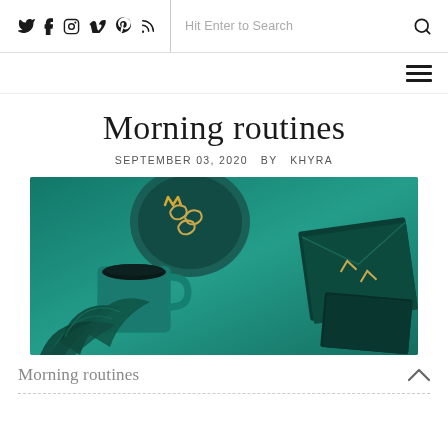Social icons: Twitter, Facebook, Instagram, Vimeo, Pinterest, RSS | Search: Hit Enter to Search
[Figure (photo): Hero image showing a teal/green desk flatlay with a coffee mug, paper clips in a dish, a plant, and dark green notebook/envelope on a teal background]
Morning routines
SEPTEMBER 03, 2020  BY  KHYRA
Morning routines